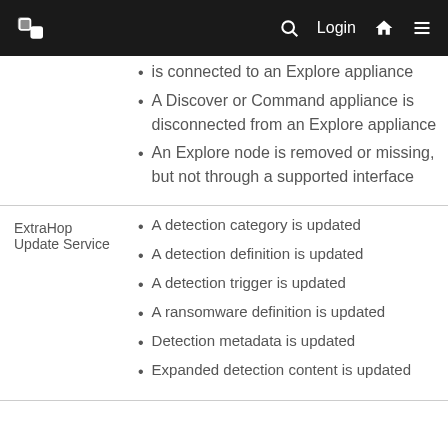ExtraHop logo, search icon, Login, home icon, menu icon
is connected to an Explore appliance
A Discover or Command appliance is disconnected from an Explore appliance
An Explore node is removed or missing, but not through a supported interface
ExtraHop Update Service
A detection category is updated
A detection definition is updated
A detection trigger is updated
A ransomware definition is updated
Detection metadata is updated
Expanded detection content is updated